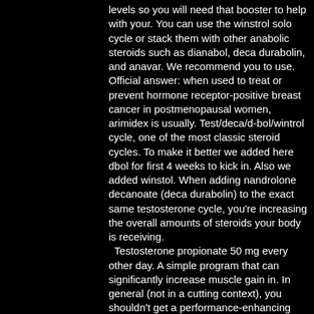levels so you will need that booster to help with your. You can use the winstrol solo cycle or stack them with other anabolic steroids such as dianabol, deca durabolin, and anavar. We recommend you to use. Official answer: when used to treat or prevent hormone receptor-positive breast cancer in postmenopausal women, arimidex is usually. Test/deca/d-bol/wintrol cycle, one of the most classic steroid cycles. To make it better we added here dbol for first 4 weeks to kick in. Also we added winstol. When adding nandrolone decanoate (deca durabolin) to the exact same testosterone cycle, you're increasing the overall amounts of steroids your body is receiving.
  Testosterone propionate 50 mg every other day. A simple program that can significantly increase muscle gain in. In general (not in a cutting context), you shouldn't get a performance-enhancing advantage if you are